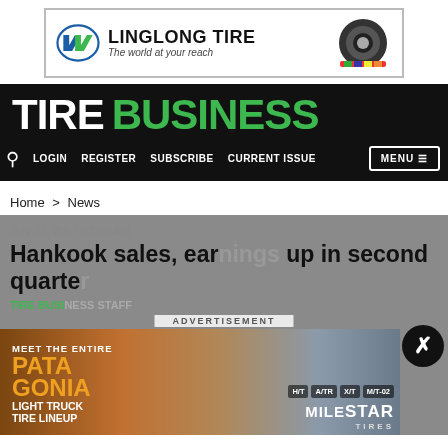[Figure (logo): Linglong Tire advertisement banner — logo with 'LINGLONG TIRE, The world at your reach' and tire image]
TIRE BUSINESS
LOGIN  REGISTER  SUBSCRIBE  CURRENT ISSUE  MENU
Home > News
July 31, 2007 02:00 AM
Hankook sales, earnings up in second quarter
TIRE BUSI...
[Figure (illustration): Milestar Patagonia Light Truck Tire Lineup advertisement — Meet the entire Patagonia Light Truck Tire Lineup: H/T A/TR X/T M/T-02 — Milestar Tires]